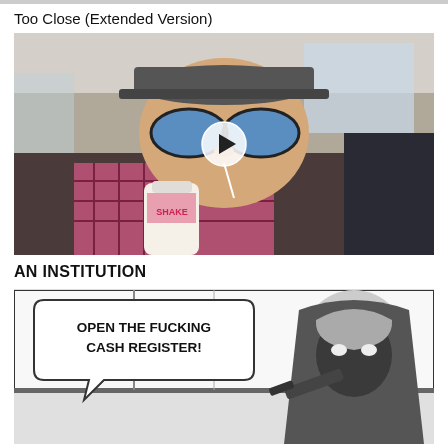Too Close (Extended Version)
[Figure (photo): A man wearing a flat-brim cap and blue mirrored sunglasses, sitting inside a car, drinking from a bottle labeled SHAKE. A circular play button overlay is visible in the center of the image.]
AN INSTITUTION
[Figure (illustration): Black and white comic strip panel showing a masked figure with speech bubble reading: OPEN THE FUCKING CASH REGISTER!]